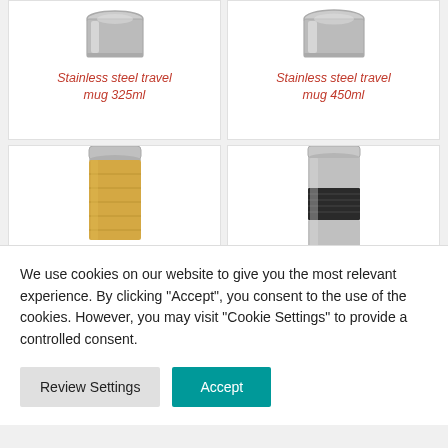[Figure (photo): Product card: Stainless steel travel mug 325ml, showing top portion of silver/stainless mug with title in italic red text]
[Figure (photo): Product card: Stainless steel travel mug 450ml, showing top portion of silver/stainless mug with title in italic red text]
[Figure (photo): Product card: bamboo travel mug with stainless steel lid, lower half visible]
[Figure (photo): Product card: stainless steel travel mug with black grip band, lower half visible]
We use cookies on our website to give you the most relevant experience. By clicking “Accept”, you consent to the use of the cookies. However, you may visit “Cookie Settings” to provide a controlled consent.
Review Settings
Accept